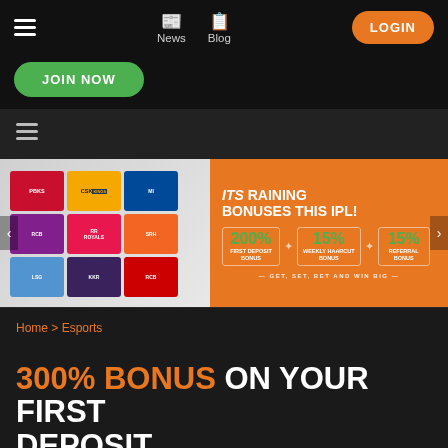Navigation bar with hamburger menu, News, Blog, LOGIN, JOIN NOW
[Figure (screenshot): IPL promotional banner with team logos on left and orange background on right showing: ITS RAINING BONUSES THIS IPL! 200% FIRST DEPOSIT BONUS, 15% WEEKLY HAARCUT BONUS, 15% REFERRAL BONUS. GET, SET, BET AND WIN BIG]
Home > Esports
300% BONUS ON YOUR FIRST DEPOSIT.